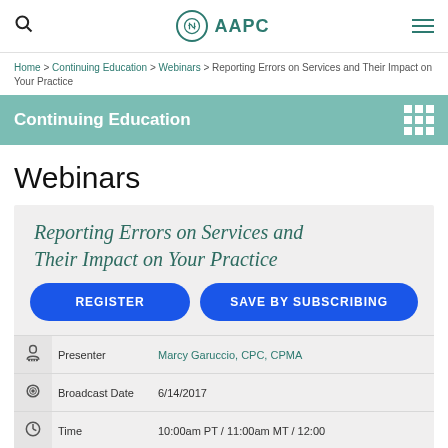AAPC
Home > Continuing Education > Webinars > Reporting Errors on Services and Their Impact on Your Practice
Continuing Education
Webinars
Reporting Errors on Services and Their Impact on Your Practice
REGISTER | SAVE BY SUBSCRIBING
|  | Label | Value |
| --- | --- | --- |
| [presenter icon] | Presenter | Marcy Garuccio, CPC, CPMA |
| [broadcast icon] | Broadcast Date | 6/14/2017 |
| [clock icon] | Time | 10:00am PT / 11:00am MT / 12:00 |